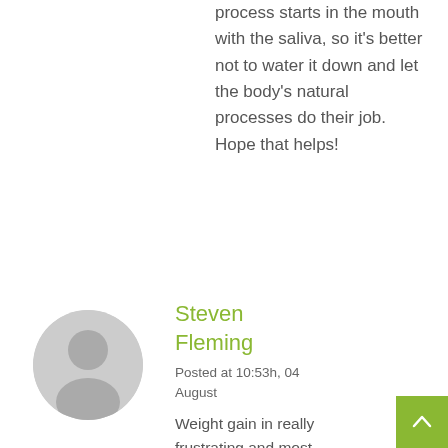process starts in the mouth with the saliva, so it's better not to water it down and let the body's natural processes do their job. Hope that helps!
[Figure (illustration): Gray circular avatar icon with a person silhouette]
Steven Fleming
Posted at 10:53h, 04 August
Weight gain in really frustrating and most